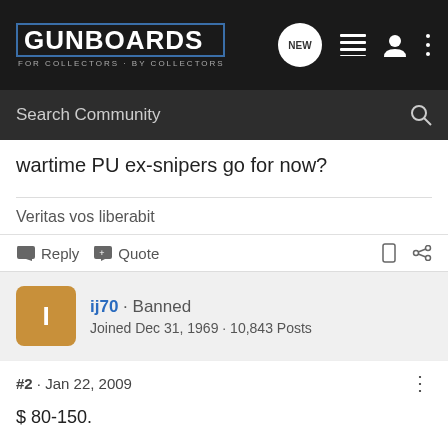GUNBOARDS - FOR COLLECTORS · BY COLLECTORS
Search Community
wartime PU ex-snipers go for now?
Veritas vos liberabit
Reply  Quote
ij70 · Banned
Joined Dec 31, 1969 · 10,843 Posts
#2 · Jan 22, 2009
$ 80-150.